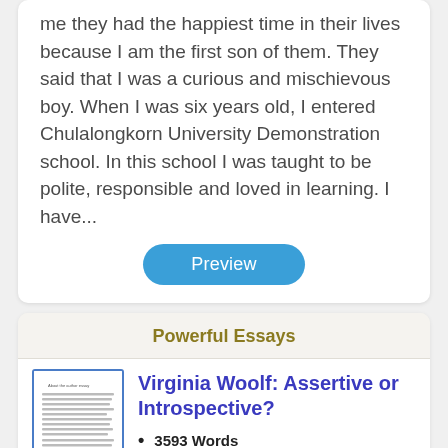me they had the happiest time in their lives because I am the first son of them. They said that I was a curious and mischievous boy. When I was six years old, I entered Chulalongkorn University Demonstration school. In this school I was taught to be polite, responsible and loved in learning. I have...
Preview
Powerful Essays
[Figure (illustration): Thumbnail image of an essay document page with small body text lines]
Virginia Woolf: Assertive or Introspective?
3593 Words
8 Pages